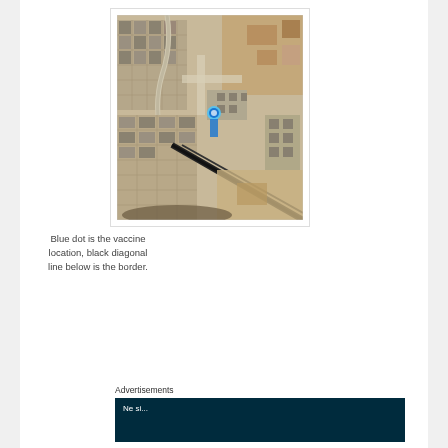[Figure (map): Aerial satellite map view of an urban/suburban area near a border. A blue dot marks the vaccine location in the center of the image. A black diagonal line running from upper-center to lower-right represents the border.]
Blue dot is the vaccine location, black diagonal line below is the border.
Advertisements